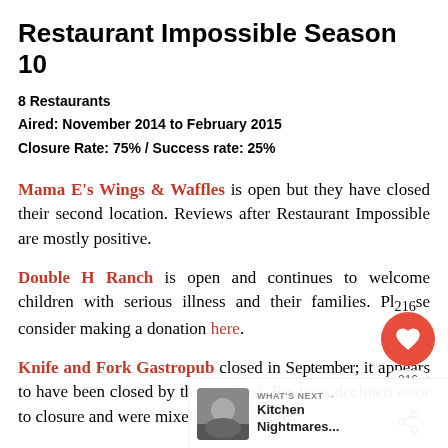Restaurant Impossible Season 10
8 Restaurants
Aired: November 2014 to February 2015
Closure Rate: 75% / Success rate: 25%
Mama E's Wings & Waffles is open but they have closed their second location. Reviews after Restaurant Impossible are mostly positive.
Double H Ranch is open and continues to welcome children with serious illness and their families. Please consider making a donation here.
Knife and Fork Gastropub closed in September; it appears to have been closed by the landlord. Reviews declined prior to closure and were mixed after the show.